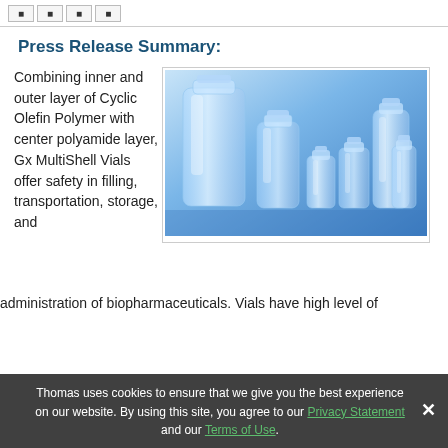[navigation buttons]
Press Release Summary:
[Figure (photo): Multiple clear glass pharmaceutical vials of varying sizes arranged on a blue background with reflections.]
Combining inner and outer layer of Cyclic Olefin Polymer with center polyamide layer, Gx MultiShell Vials offer safety in filling, transportation, storage, and administration of biopharmaceuticals. Vials have high level of
Thomas uses cookies to ensure that we give you the best experience on our website. By using this site, you agree to our Privacy Statement and our Terms of Use.